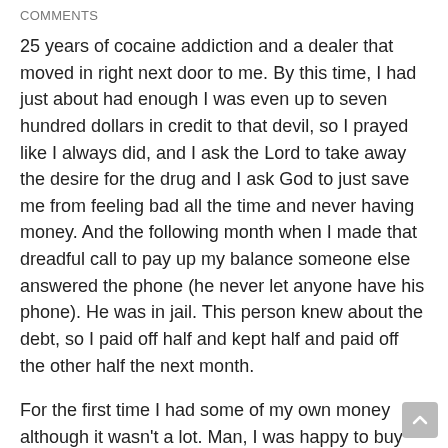COMMENTS
25 years of cocaine addiction and a dealer that moved in right next door to me. By this time, I had just about had enough I was even up to seven hundred dollars in credit to that devil, so I prayed like I always did, and I ask the Lord to take away the desire for the drug and I ask God to just save me from feeling bad all the time and never having money. And the following month when I made that dreadful call to pay up my balance someone else answered the phone (he never let anyone have his phone). He was in jail. This person knew about the debt, so I paid off half and kept half and paid off the other half the next month.
For the first time I had some of my own money although it wasn't a lot. Man, I was happy to buy pizza juice milk etc., it felt so good I just ask the Lord to make my life good like today and that guy was in